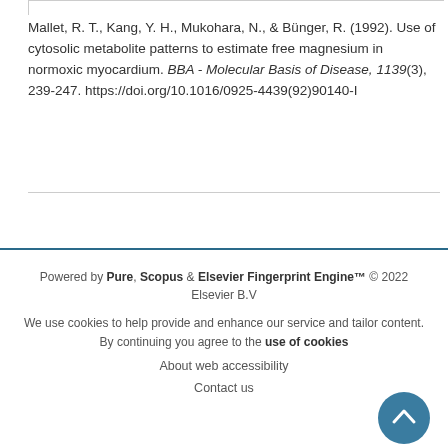Mallet, R. T., Kang, Y. H., Mukohara, N., & Bünger, R. (1992). Use of cytosolic metabolite patterns to estimate free magnesium in normoxic myocardium. BBA - Molecular Basis of Disease, 1139(3), 239-247. https://doi.org/10.1016/0925-4439(92)90140-I
Powered by Pure, Scopus & Elsevier Fingerprint Engine™ © 2022 Elsevier B.V

We use cookies to help provide and enhance our service and tailor content. By continuing you agree to the use of cookies

About web accessibility

Contact us